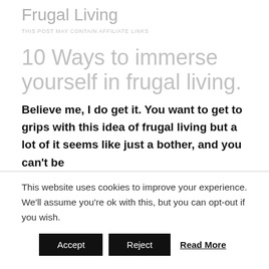Frugal Living
THIS POST MAY CONTAIN AFFILIATE LINKS
10 Ways to immerse yourself in frugal living.
Believe me, I do get it. You want to get to grips with this idea of frugal living but a lot of it seems like just a bother, and you can't be
This website uses cookies to improve your experience. We'll assume you're ok with this, but you can opt-out if you wish.
Accept   Reject   Read More